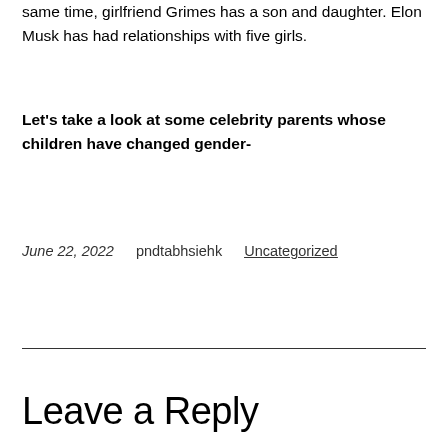same time, girlfriend Grimes has a son and daughter. Elon Musk has had relationships with five girls.
Let's take a look at some celebrity parents whose children have changed gender-
June 22, 2022    pndtabhsiehk    Uncategorized
Leave a Reply